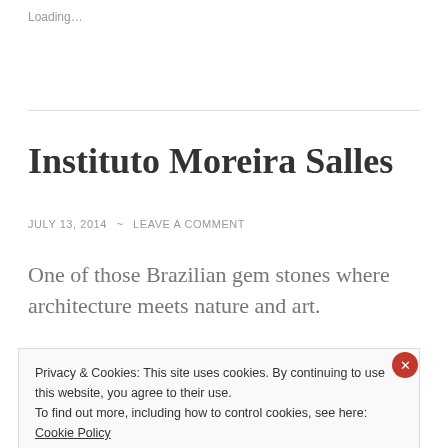Loading…
Instituto Moreira Salles
JULY 13, 2014  ~  LEAVE A COMMENT
One of those Brazilian gem stones where architecture meets nature and art.
[Figure (photo): Black image bar at the top of a photo]
Privacy & Cookies: This site uses cookies. By continuing to use this website, you agree to their use.
To find out more, including how to control cookies, see here: Cookie Policy
Close and accept